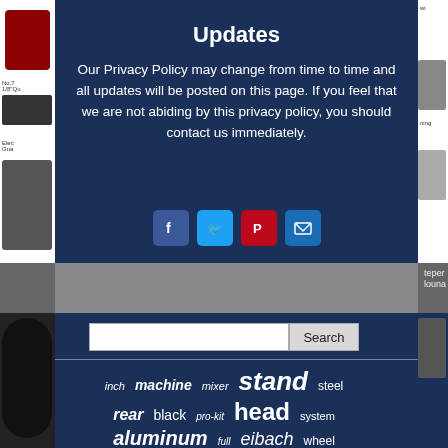in a secure environment.
Updates
Our Privacy Policy may change from time to time and all updates will be posted on this page. If you feel that we are not abiding by this privacy policy, you should contact us immediately.
[Figure (infographic): Social share icons: Facebook (blue), Twitter (blue), Pinterest (red), Email (blue)]
[Figure (screenshot): Search bar with text input and Search button]
inch machine mixer stand steel rear black pro-kit head system aluminum full eibach wheel lowering commercial auto lift